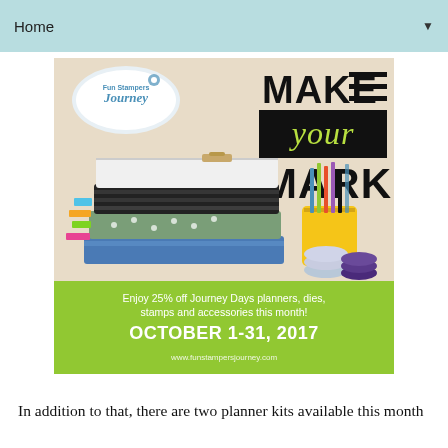Home
[Figure (illustration): Fun Stampers Journey promotional advertisement showing stacked planners, planner accessories, pens in a yellow cup, and washi tape rolls on a wooden surface. Text reads: MAKE your MARK. Enjoy 25% off Journey Days planners, dies, stamps and accessories this month! OCTOBER 1-31, 2017. www.funstampersjourney.com]
In addition to that, there are two planner kits available this month